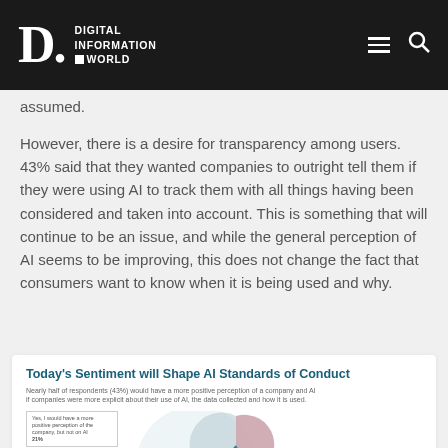DIGITAL INFORMATION WORLD
assumed.
However, there is a desire for transparency among users. 43% said that they wanted companies to outright tell them if they were using AI to track them with all things having been considered and taken into account. This is something that will continue to be an issue, and while the general perception of AI seems to be improving, this does not change the fact that consumers want to know when it is being used and why.
[Figure (pie-chart): Pie chart showing respondent sentiments about AI transparency. One visible slice labeled 'Yes, I would have a more positive perception of the company, but not on AI 21%'.]